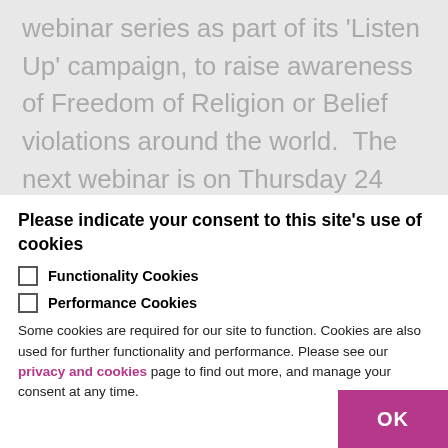webinar series as part of its 'Listen Up' campaign, to raise awareness of Freedom of Religion or Belief violations around the world. The next webinar is on Thursday 24 June at 7pm on 'The Current Status of the Freedom of Religion or Belief Around the World: Challenges and Moving Forward'. For more information and to register, visit: christianaidireland.and/dinners-forch-HzlbxA.
Please indicate your consent to this site's use of cookies
Functionality Cookies
Performance Cookies
Some cookies are required for our site to function. Cookies are also used for further functionality and performance. Please see our privacy and cookies page to find out more, and manage your consent at any time.